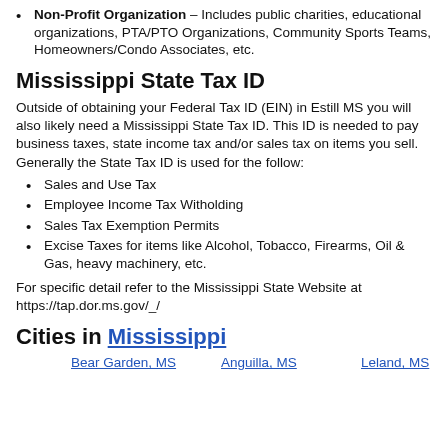Non-Profit Organization – Includes public charities, educational organizations, PTA/PTO Organizations, Community Sports Teams, Homeowners/Condo Associates, etc.
Mississippi State Tax ID
Outside of obtaining your Federal Tax ID (EIN) in Estill MS you will also likely need a Mississippi State Tax ID. This ID is needed to pay business taxes, state income tax and/or sales tax on items you sell. Generally the State Tax ID is used for the follow:
Sales and Use Tax
Employee Income Tax Witholding
Sales Tax Exemption Permits
Excise Taxes for items like Alcohol, Tobacco, Firearms, Oil & Gas, heavy machinery, etc.
For specific detail refer to the Mississippi State Website at https://tap.dor.ms.gov/_/
Cities in Mississippi
Bear Garden, MS
Anguilla, MS
Leland, MS